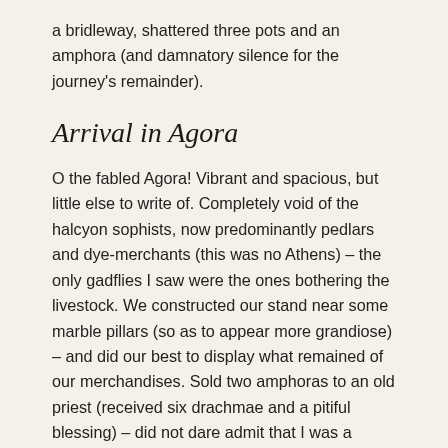a bridleway, shattered three pots and an amphora (and damnatory silence for the journey's remainder).
Arrival in Agora
O the fabled Agora! Vibrant and spacious, but little else to write of. Completely void of the halcyon sophists, now predominantly pedlars and dye-merchants (this was no Athens) – the only gadflies I saw were the ones bothering the livestock. We constructed our stand near some marble pillars (so as to appear more grandiose) – and did our best to display what remained of our merchandises. Sold two amphoras to an old priest (received six drachmae and a pitiful blessing) – did not dare admit that I was a godless individual to such a man; by Zeus did he go on with his imperious lectures on the